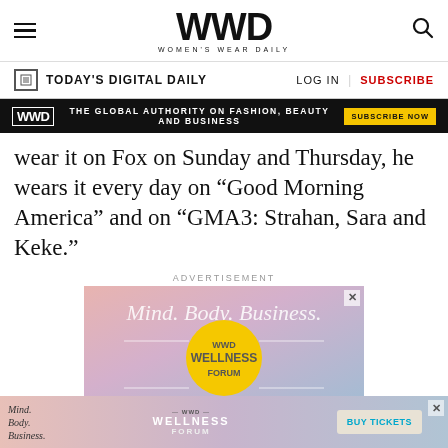WWD — Women's Wear Daily
TODAY'S DIGITAL DAILY   LOG IN   SUBSCRIBE
[Figure (screenshot): WWD black advertisement banner: 'THE GLOBAL AUTHORITY ON FASHION, BEAUTY AND BUSINESS' with SUBSCRIBE NOW button]
wear it on Fox on Sunday and Thursday, he wears it every day on “Good Morning America” and on “GMA3: Strahan, Sara and Keke.”
ADVERTISEMENT
[Figure (screenshot): WWD Wellness Forum advertisement with gradient pink/blue background, yellow circle logo, text 'Mind. Body. Business.' and 'WWD WELLNESS FORUM']
[Figure (screenshot): Bottom banner: WWD Wellness Forum ad with 'Mind. Body. Business.' text, WWD Wellness Forum logo, and BUY TICKETS button]